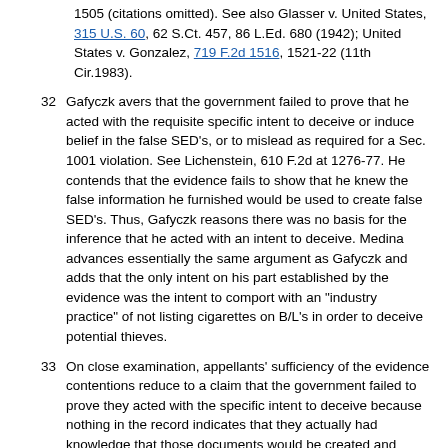1505 (citations omitted). See also Glasser v. United States, 315 U.S. 60, 62 S.Ct. 457, 86 L.Ed. 680 (1942); United States v. Gonzalez, 719 F.2d 1516, 1521-22 (11th Cir.1983).
32  Gafyczk avers that the government failed to prove that he acted with the requisite specific intent to deceive or induce belief in the false SED's, or to mislead as required for a Sec. 1001 violation. See Lichenstein, 610 F.2d at 1276-77. He contends that the evidence fails to show that he knew the false information he furnished would be used to create false SED's. Thus, Gafyczk reasons there was no basis for the inference that he acted with an intent to deceive. Medina advances essentially the same argument as Gafyczk and adds that the only intent on his part established by the evidence was the intent to comport with an "industry practice" of not listing cigarettes on B/L's in order to deceive potential thieves.
33  On close examination, appellants' sufficiency of the evidence contentions reduce to a claim that the government failed to prove they acted with the specific intent to deceive because nothing in the record indicates that they actually had knowledge that those documents would be created and submitted to the U.S. Customs Service. Gafyczk and Medina cite no authority for the proposition that the showing of specific intent required under Sec. 1001 includes